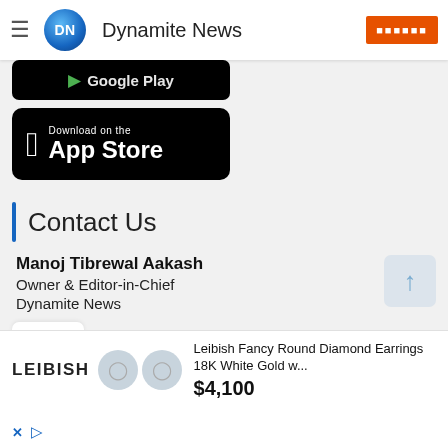Dynamite News
[Figure (screenshot): Google Play store download button strip (partially visible)]
[Figure (screenshot): Download on the App Store button (black rounded rectangle with Apple logo)]
Contact Us
Manoj Tibrewal Aakash
Owner & Editor-in-Chief
Dynamite News
[Figure (screenshot): Advertisement: Leibish Fancy Round Diamond Earrings 18K White Gold w... $4,100]